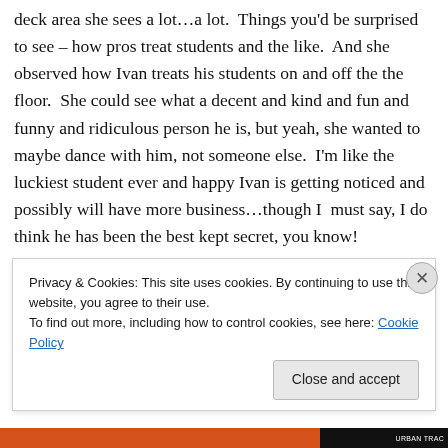deck area she sees a lot…a lot. Things you'd be surprised to see – how pros treat students and the like. And she observed how Ivan treats his students on and off the the floor. She could see what a decent and kind and fun and funny and ridiculous person he is, but yeah, she wanted to maybe dance with him, not someone else. I'm like the luckiest student ever and happy Ivan is getting noticed and possibly will have more business…though I must say, I do think he has been the best kept secret, you know!
You see, there is always a lot that goes on during these things. And before the next paragraph, there seems to be...
Privacy & Cookies: This site uses cookies. By continuing to use this website, you agree to their use.
To find out more, including how to control cookies, see here: Cookie Policy
Close and accept